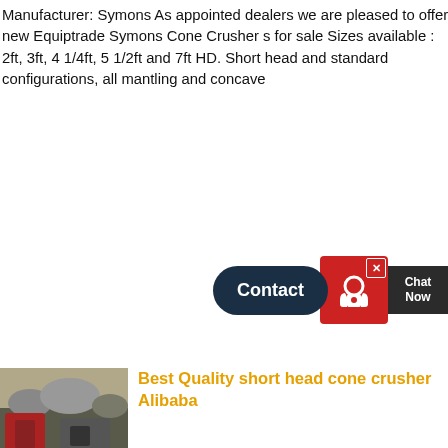Manufacturer: Symons As appointed dealers we are pleased to offer new Equiptrade Symons Cone Crusher s for sale Sizes available : 2ft, 3ft, 4 1/4ft, 5 1/2ft and 7ft HD. Short head and standard configurations, all mantling and concave
[Figure (other): Contact / Chat Now widget with red icon showing support agent, dark navy Contact button and dark Chat Now label]
[Figure (photo): Photo of a cone crusher machine operating at a quarry site with rocks and machinery visible]
Best Quality short head cone crusher Alibaba
Short Head Cone Crusher Symons Cone Crusher Hot Sale 3' Symons 4.25ft Short Head Aggregate Cone Crusher Machine. US $10000-$150000 / Set. 1.0 Sets (Min. Order) 1 YR. Henan Vanguard